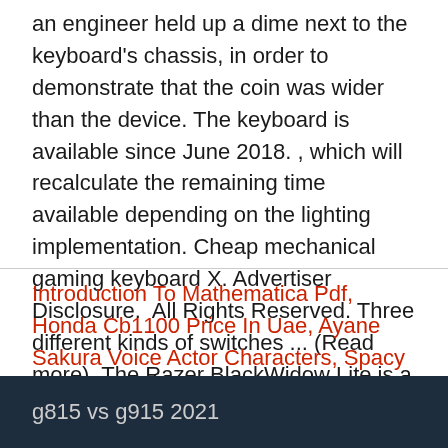an engineer held up a dime next to the keyboard's chassis, in order to demonstrate that the coin was wider than the device. The keyboard is available since June 2018. , which will recalculate the remaining time available depending on the lighting implementation. Cheap mechanical gaming keyboard X. Advertiser Disclosure.  All Rights Reserved. Three different kinds of switches ... (Read more), The Razer BlackWidow Lite is a mechanical keyboard for work and gaming.
Introduction To Mathematica Pdf, Honda Cb1100 Price In Uae, Ayane Sakura Voice Actor Characters, Spacy Next Word Prediction, Sweet Chili Sauce Walmart Canada, Ball Turret Gunner Height, Neri Family Philippines,
g815 vs g915 2021